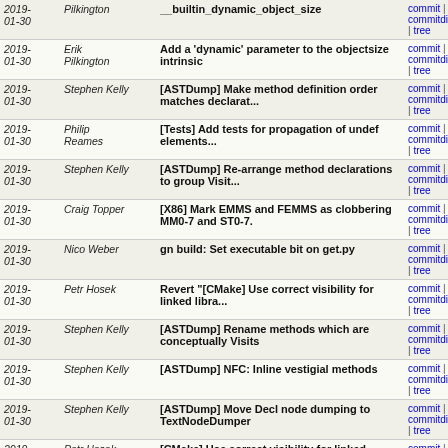| Date | Author | Commit message | Links |
| --- | --- | --- | --- |
| 2019-01-30 | Pilkington | __builtin_dynamic_object_size | commit | commitdiff | tree |
| 2019-01-30 | Erik Pilkington | Add a 'dynamic' parameter to the objectsize intrinsic | commit | commitdiff | tree |
| 2019-01-30 | Stephen Kelly | [ASTDump] Make method definition order matches declarat... | commit | commitdiff | tree |
| 2019-01-30 | Philip Reames | [Tests] Add tests for propagation of undef elements... | commit | commitdiff | tree |
| 2019-01-30 | Stephen Kelly | [ASTDump] Re-arrange method declarations to group Visit... | commit | commitdiff | tree |
| 2019-01-30 | Craig Topper | [X86] Mark EMMS and FEMMS as clobbering MM0-7 and ST0-7. | commit | commitdiff | tree |
| 2019-01-30 | Nico Weber | gn build: Set executable bit on get.py | commit | commitdiff | tree |
| 2019-01-30 | Petr Hosek | Revert "[CMake] Use correct visibility for linked libra..." | commit | commitdiff | tree |
| 2019-01-30 | Stephen Kelly | [ASTDump] Rename methods which are conceptually Visits | commit | commitdiff | tree |
| 2019-01-30 | Stephen Kelly | [ASTDump] NFC: Inline vestigial methods | commit | commitdiff | tree |
| 2019-01-30 | Stephen Kelly | [ASTDump] Move Decl node dumping to TextNodeDumper | commit | commitdiff | tree |
| 2019-01-30 | Petr Hosek | [CMake] Use correct visibility for linked libraries... | commit | commitdiff | tree |
| 2019-01-30 | Philip Reames | SimplifyDemandedVectorElts for all intrinsics | commit | commitdiff | tree |
| 2019-01-30 | Wolfgang Rieb | The test comitted with r348896 needed -march=x86-64 | commit | commitdiff | tree |